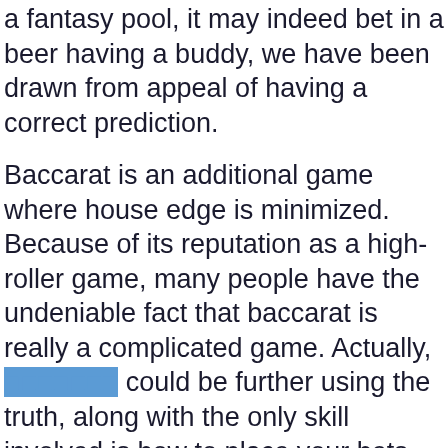a fantasy pool, it may indeed bet in a beer having a buddy, we have been drawn from appeal of having a correct prediction.
Baccarat is an additional game where house edge is minimized. Because of its reputation as a high-roller game, many people have the undeniable fact that baccarat is really a complicated game. Actually, [link] could be further using the truth, along with the only skill involved is how to place your bets, because baccarat seemingly a game of chance. Should you not know easy methods to play, you’ll in about five minutes if you have the ability to count to nine. Worthwhile “don’t” for baccarat is about tie gambling bets. This is a bet that your banker (dealer) will end up with the same score, and also the house advantage on this bet is 15%. All other house edges in baccarat are less.